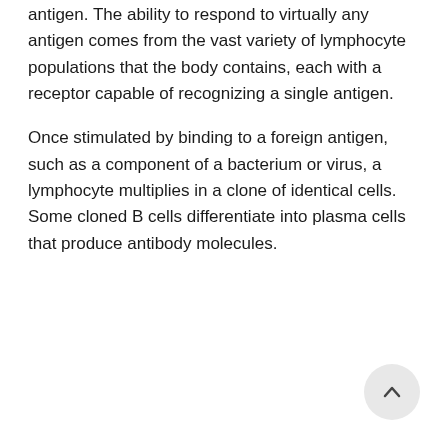antigen. The ability to respond to virtually any antigen comes from the vast variety of lymphocyte populations that the body contains, each with a receptor capable of recognizing a single antigen.
Once stimulated by binding to a foreign antigen, such as a component of a bacterium or virus, a lymphocyte multiplies in a clone of identical cells. Some cloned B cells differentiate into plasma cells that produce antibody molecules.